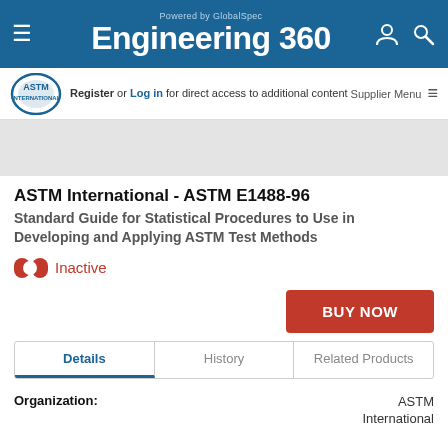Engineering 360 - Powered by GlobalSpec
Register or Log in for direct access to additional content
ASTM International - ASTM E1488-96
Standard Guide for Statistical Procedures to Use in Developing and Applying ASTM Test Methods
Inactive
BUY NOW
Details | History | Related Products
Organization: ASTM International